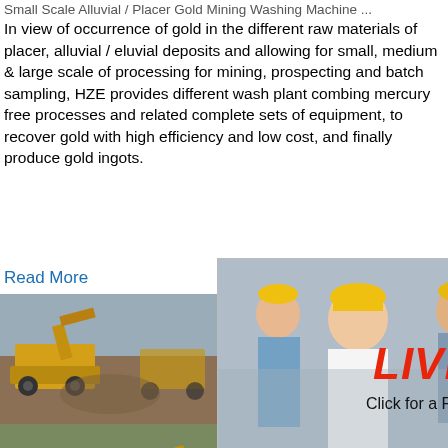Small Scale Alluvial / Placer Gold Mining Washing Machine ...
In view of occurrence of gold in the different raw materials of placer, alluvial / eluvial deposits and allowing for small, medium & large scale of processing for mining, prospecting and batch sampling, HZE provides different wash plant combing mercury free processes and related complete sets of equipment, to recover gold with high efficiency and low cost, and finally produce gold ingots.
Read More
[Figure (photo): Construction/mining equipment (yellow machines) at a site with dirt and gravel]
[Figure (screenshot): Live chat popup overlay showing workers in hard hats, LIVE CHAT in red italic text, Click for a Free Consultation, Chat now (red) and Chat later (dark) buttons]
[Figure (photo): Industrial machinery (cone crusher / mining machine) on blue background, with 'hour online' text and 'Click me to chat>>' button]
China Weifang Gold Washing Plant Machine for G... Weifang gold washing plant machine for go... ct Category & Applicable Scope Working proc... raw materials through heavy equipment Ra... ed through the entrance of the hopper will be p...
Enquiry
limingjlmofen